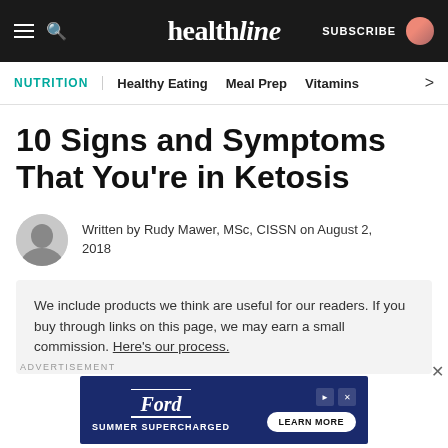healthline
NUTRITION | Healthy Eating  Meal Prep  Vitamins  >
10 Signs and Symptoms That You're in Ketosis
Written by Rudy Mawer, MSc, CISSN on August 2, 2018
We include products we think are useful for our readers. If you buy through links on this page, we may earn a small commission. Here's our process.
[Figure (screenshot): Ford Summer Supercharged advertisement banner with Learn More button]
ADVERTISEMENT